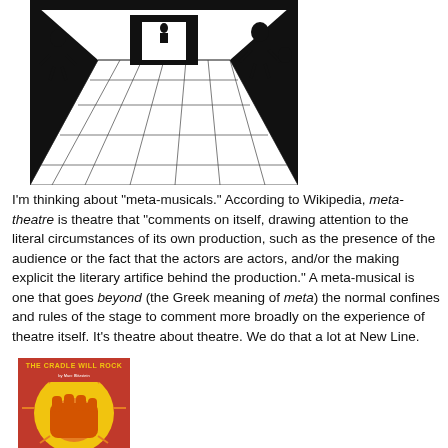[Figure (illustration): Black and white illustration of a theater stage viewed from above, with silhouetted figures on stage, showing perspective lines of the stage floor and a doorway or screen in the back center.]
I'm thinking about "meta-musicals." According to Wikipedia, meta-theatre is theatre that "comments on itself, drawing attention to the literal circumstances of its own production, such as the presence of the audience or the fact that the actors are actors, and/or the making explicit the literary artifice behind the production." A meta-musical is one that goes beyond (the Greek meaning of meta) the normal confines and rules of the stage to comment more broadly on the experience of theatre itself. It's theatre about theatre. We do that a lot at New Line.
[Figure (illustration): Colorful poster for 'The Cradle Will Rock' by Marc Blitzstein, featuring a raised fist on a red, orange, and yellow sunburst background with bold yellow text.]